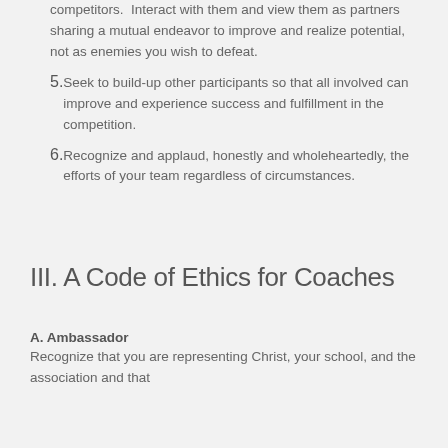competitors.  Interact with them and view them as partners sharing a mutual endeavor to improve and realize potential, not as enemies you wish to defeat.
5. Seek to build-up other participants so that all involved can improve and experience success and fulfillment in the competition.
6. Recognize and applaud, honestly and wholeheartedly, the efforts of your team regardless of circumstances.
III. A Code of Ethics for Coaches
A. Ambassador
Recognize that you are representing Christ, your school, and the association and that